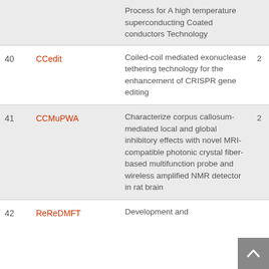| # | Acronym | Description |  |
| --- | --- | --- | --- |
|  |  | Process for A high temperature superconducting Coated conductors Technology |  |
| 40 | CCedit | Coiled-coil mediated exonuclease tethering technology for the enhancement of CRISPR gene editing | 2 |
| 41 | CCMuPWA | Characterize corpus callosum-mediated local and global inhibitory effects with novel MRI-compatible photonic crystal fiber-based multifunction probe and wireless amplified NMR detector in rat brain | 2 |
| 42 | ReReDMFT | Development and |  |